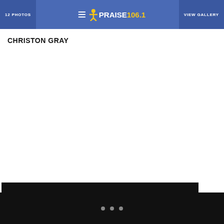12 PHOTOS | PRAISE 106.1 | VIEW GALLERY
CHRISTON GRAY
[Figure (screenshot): White content area with Praise 106.1 radio station gallery page for Christon Gray. Dark bottom navigation strip with pagination dots.]